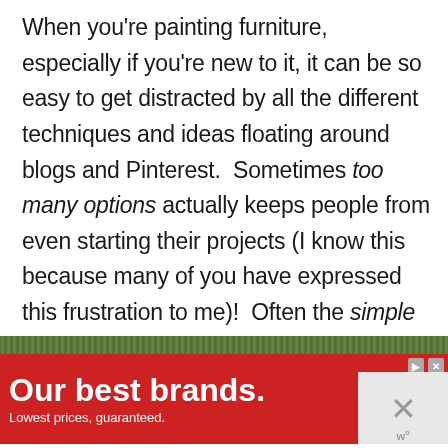When you're painting furniture, especially if you're new to it, it can be so easy to get distracted by all the different techniques and ideas floating around blogs and Pinterest.  Sometimes too many options actually keeps people from even starting their projects (I know this because many of you have expressed this frustration to me)!  Often the simple route is the best solution.  And if you're feeling Project Paralyzed, go back and read this post:  Why Done is Better Than Perfect
[Figure (screenshot): Advertisement banner: green textured bar at top, red Mattress Firm ad with logo and 'Our best brands. Lowest prices, guaranteed.' text, with close/skip controls on right side]